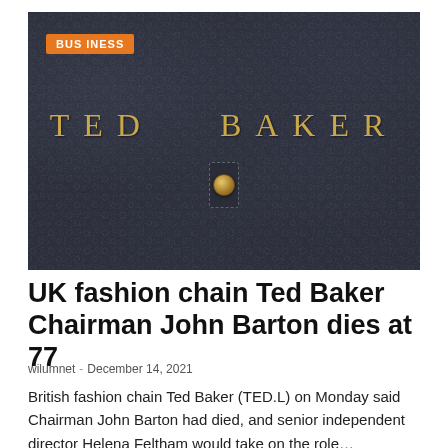[Figure (photo): Close-up photo of a dark navy/charcoal textured leather surface with 'TED BAKER' written in gold letters in the center, and a gold metal rivet/stud hardware piece below the text. An orange 'BUSINESS' badge is overlaid in the top-left corner of the image.]
UK fashion chain Ted Baker Chairman John Barton dies at 77
wilumnet - December 14, 2021
British fashion chain Ted Baker (TED.L) on Monday said Chairman John Barton had died, and senior independent director Helena Feltham would take on the role…